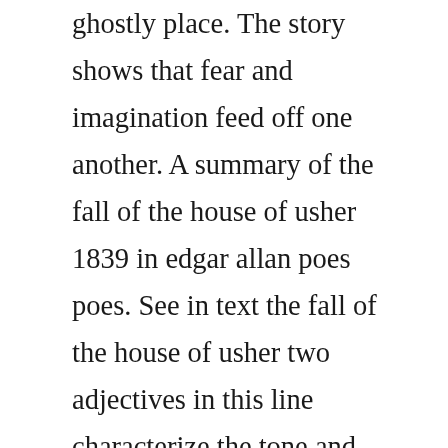ghostly place. The story shows that fear and imagination feed off one another. A summary of the fall of the house of usher 1839 in edgar allan poes poes. See in text the fall of the house of usher two adjectives in this line characterize the tone and the nature of the house of usher. House of usher also known as the fall of the house of usher and the mysterious house of usher is a 1960 american horror film directed by roger corman and written by richard matheson from the 1839 short story the fall of the house of usher by edgar allan poe. Also, poe uses the fall of the